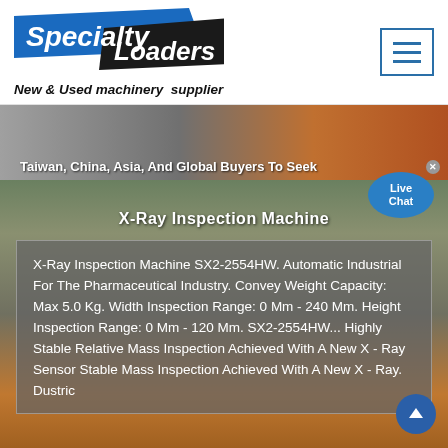[Figure (logo): Specialty Loaders logo with blue and black diagonal design]
New & Used machinery supplier
[Figure (screenshot): Banner image with text: Taiwan, China, Asia, And Global Buyers To Seek]
[Figure (screenshot): Live Chat bubble overlay]
X-Ray Inspection Machine
X-Ray Inspection Machine SX2-2554HW. Automatic Industrial For The Pharmaceutical Industry. Convey Weight Capacity: Max 5.0 Kg. Width Inspection Range: 0 Mm - 240 Mm. Height Inspection Range: 0 Mm - 120 Mm. SX2-2554HW... Highly Stable Relative Mass Inspection Achieved With A New X - Ray Sensor Stable Mass Inspection Achieved With A New X - Ray. Dustric